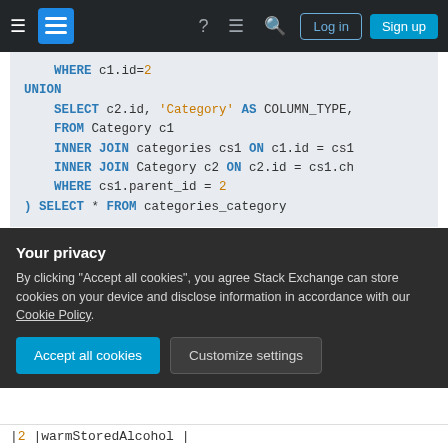Stack Exchange navigation bar with hamburger menu, logo, help, chat, search icons, Log in and Sign up buttons
[Figure (screenshot): SQL code block showing WHERE c1.id=2, UNION, SELECT c2.id, 'Category' AS COLUMN_TYPE, FROM Category c1, INNER JOIN categories cs1 ON c1.id = cs1, INNER JOIN Category c2 ON c2.id = cs1.ch, WHERE cs1.parent_id = 2, ) SELECT * FROM categories_category]
Edit: More Detailed example:
Given the following category row's, I'd like to be able to run a query given a WHERE clause the
Your privacy
By clicking "Accept all cookies", you agree Stack Exchange can store cookies on your device and disclose information in accordance with our Cookie Policy.
Accept all cookies   Customize settings
|2  |warmStoredAlcohol |